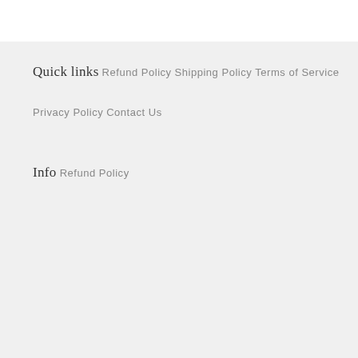Quick links
Refund Policy
Shipping Policy
Terms of Service
Privacy Policy
Contact Us
Info
Refund Policy